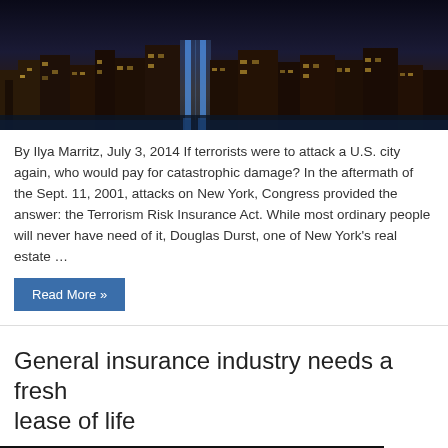[Figure (photo): Night cityscape of New York City with bright blue memorial lights visible in the skyline]
By Ilya Marritz, July 3, 2014 If terrorists were to attack a U.S. city again, who would pay for catastrophic damage? In the aftermath of the Sept. 11, 2001, attacks on New York, Congress provided the answer: the Terrorism Risk Insurance Act. While most ordinary people will never have need of it, Douglas Durst, one of New York's real estate …
Read More »
General insurance industry needs a fresh lease of life
[Figure (photo): Dark umbrella photographed from below against a dark background]